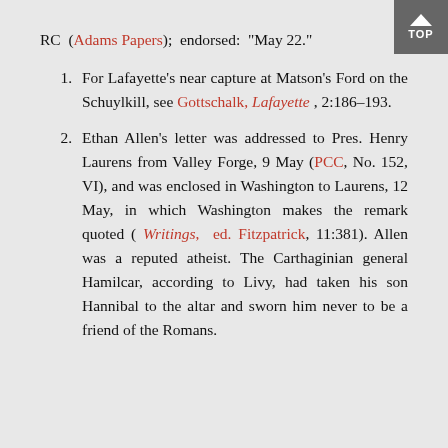RC (Adams Papers); endorsed: “May 22.”
1. For Lafayette's near capture at Matson's Ford on the Schuylkill, see Gottschalk, Lafayette, 2:186–193.
2. Ethan Allen's letter was addressed to Pres. Henry Laurens from Valley Forge, 9 May (PCC, No. 152, VI), and was enclosed in Washington to Laurens, 12 May, in which Washington makes the remark quoted (Writings, ed. Fitzpatrick, 11:381). Allen was a reputed atheist. The Carthaginian general Hamilcar, according to Livy, had taken his son Hannibal to the altar and sworn him never to be a friend of the Romans.